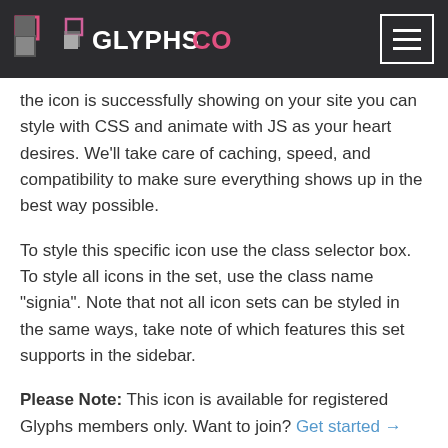GLYPHSCO
the icon is successfully showing on your site you can style with CSS and animate with JS as your heart desires. We'll take care of caching, speed, and compatibility to make sure everything shows up in the best way possible.
To style this specific icon use the class selector box. To style all icons in the set, use the class name "signia". Note that not all icon sets can be styled in the same ways, take note of which features this set supports in the sidebar.
Please Note: This icon is available for registered Glyphs members only. Want to join? Get started →
Tags